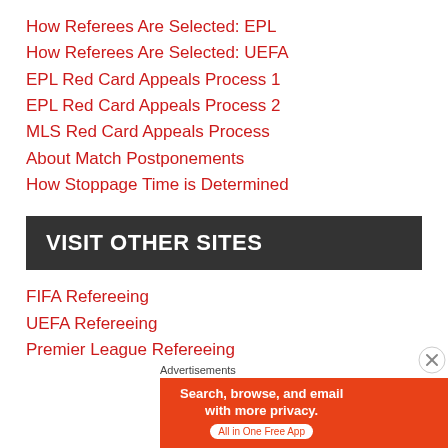How Referees Are Selected: EPL
How Referees Are Selected: UEFA
EPL Red Card Appeals Process 1
EPL Red Card Appeals Process 2
MLS Red Card Appeals Process
About Match Postponements
How Stoppage Time is Determined
VISIT OTHER SITES
FIFA Refereeing
UEFA Refereeing
Premier League Refereeing
Advertisements
[Figure (infographic): DuckDuckGo advertisement banner: Search, browse, and email with more privacy. All in One Free App. DuckDuckGo logo.]